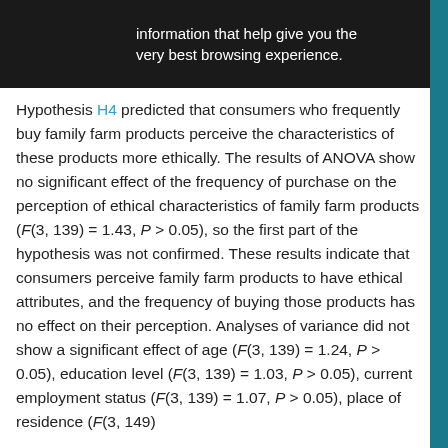information that help give you the very best browsing experience.
Hypothesis H4 predicted that consumers who frequently buy family farm products perceive the characteristics of these products more ethically. The results of ANOVA show no significant effect of the frequency of purchase on the perception of ethical characteristics of family farm products (F(3, 139) = 1.43, P > 0.05), so the first part of the hypothesis was not confirmed. These results indicate that consumers perceive family farm products to have ethical attributes, and the frequency of buying those products has no effect on their perception. Analyses of variance did not show a significant effect of age (F(3, 139) = 1.24, P > 0.05), education level (F(3, 139) = 1.03, P > 0.05), current employment status (F(3, 139) = 1.07, P > 0.05), place of residence (F(3, 139) =